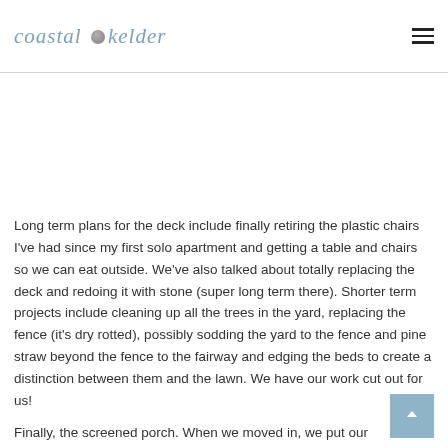coastal kelder
Long term plans for the deck include finally retiring the plastic chairs I've had since my first solo apartment and getting a table and chairs so we can eat outside.  We've also talked about totally replacing the deck and redoing it with stone (super long term there).  Shorter term projects include cleaning up all the trees in the yard, replacing the fence (it's dry rotted), possibly sodding the yard to the fence and pine straw beyond the fence to the fairway and edging the beds to create a distinction between them and the lawn. We have our work cut out for us!
Finally, the screened porch. When we moved in, we put our